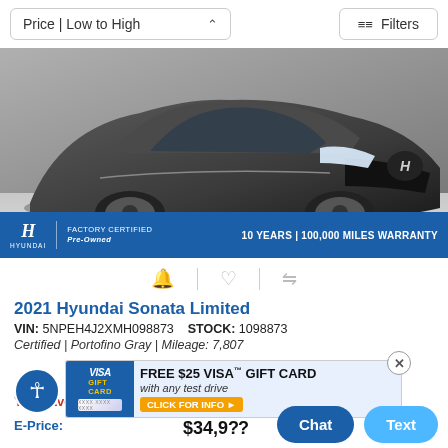Price | Low to High
Filters
[Figure (photo): Front three-quarter view of a dark gray 2021 Hyundai Sonata Limited in a showroom setting, with Hyundai Factory Certified Pre-Owned banner: 10 YEARS | 100,000 MILES WARRANTY]
2021 Hyundai Sonata Limited
VIN: 5NPEH4J2XMH098873    STOCK: 1098873
Certified | Portofino Gray | Mileage: 7,807
[Figure (infographic): FREE $25 VISA GIFT CARD with any test drive promotional banner with CLICK FOR INFO button]
You Save:
E-Price:
$34,9??